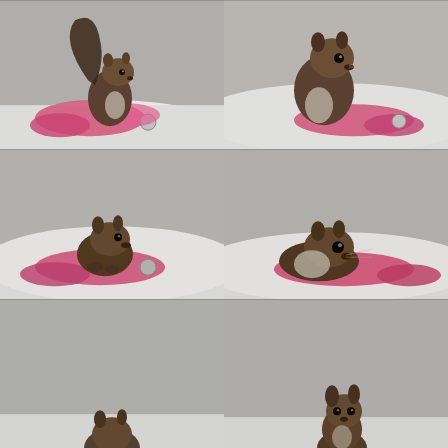[Figure (photo): Six-panel photo collage of a gray squirrel interacting with a pink flamingo plush toy on a white cloth/bed. Top-left: squirrel sitting upright holding the pink flamingo toy. Top-right: squirrel sitting upright with the flamingo toy, closer view. Middle-left: squirrel leaning down, gnawing or playing with the flamingo toy. Middle-right: squirrel lying low over the flamingo toy, looking at camera. Bottom-left: partial view, mostly gray background with squirrel partially visible at bottom. Bottom-right: squirrel sitting upright looking at camera, partial view.]